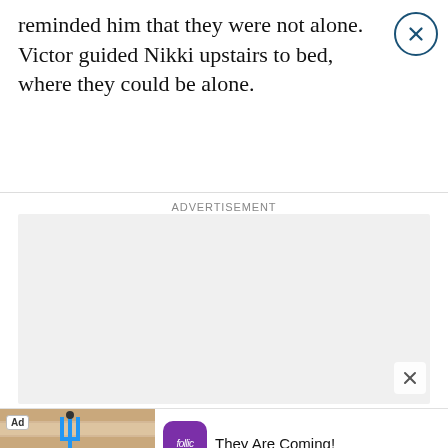reminded him that they were not alone. Victor guided Nikki upstairs to bed, where they could be alone.
ADVERTISEMENT
[Figure (other): Grey advertisement placeholder box]
[Figure (screenshot): Mobile game ad: 'Ad' badge, game screenshot with 'Build and Move' text, Follic app icon (purple rounded square), text 'They Are Coming!']
[Figure (screenshot): Doorbell camera ad with image of security camera mounted on wall. Text: 'Homeowners Are Trading In Their Doorbell Cams For This' by Camerca | Sponsored. Close button x.]